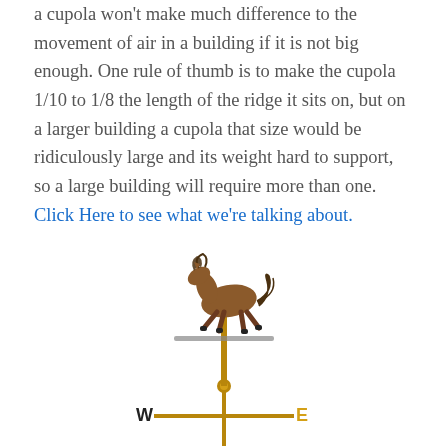a cupola won't make much difference to the movement of air in a building if it is not big enough. One rule of thumb is to make the cupola 1/10 to 1/8 the length of the ridge it sits on, but on a larger building a cupola that size would be ridiculously large and its weight hard to support, so a large building will require more than one. Click Here to see what we're talking about.
[Figure (illustration): A decorative weather vane featuring a galloping horse on top of a directional cross with W and E markers, shown in bronze/copper tones]